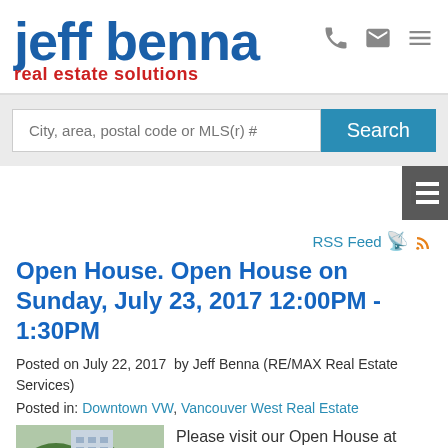jeff benna real estate solutions
[Figure (screenshot): Search bar with text 'City, area, postal code or MLS(r) #' and a blue Search button]
[Figure (screenshot): Gray sidebar tab with menu/list icon on right edge]
RSS Feed
Open House. Open House on Sunday, July 23, 2017 12:00PM - 1:30PM
Posted on July 22, 2017  by Jeff Benna (RE/MAX Real Estate Services)
Posted in: Downtown VW, Vancouver West Real Estate
[Figure (photo): Photo of a tall building with trees and a red SOLD banner overlay in the lower left corner]
Please visit our Open House at 1306 821 CAMBIE ST in Vancouver.